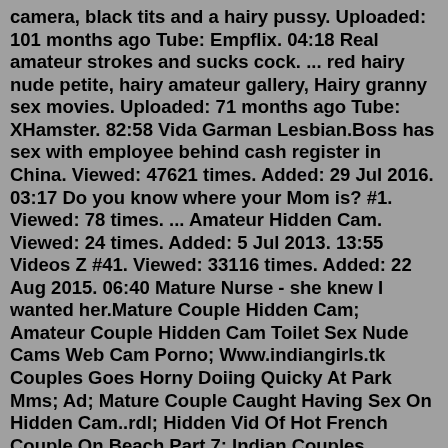camera, black tits and a hairy pussy. Uploaded: 101 months ago Tube: Empflix. 04:18 Real amateur strokes and sucks cock. ... red hairy nude petite, hairy amateur gallery, Hairy granny sex movies. Uploaded: 71 months ago Tube: XHamster. 82:58 Vida Garman Lesbian.Boss has sex with employee behind cash register in China. Viewed: 47621 times. Added: 29 Jul 2016. 03:17 Do you know where your Mom is? #1. Viewed: 78 times. ... Amateur Hidden Cam. Viewed: 24 times. Added: 5 Jul 2013. 13:55 Videos Z #41. Viewed: 33116 times. Added: 22 Aug 2015. 06:40 Mature Nurse - she knew I wanted her.Mature Couple Hidden Cam; Amateur Couple Hidden Cam Toilet Sex Nude Cams Web Cam Porno; Www.indiangirls.tk Couples Goes Horny Doiing Quicky At Park Mms; Ad; Mature Couple Caught Having Sex On Hidden Cam..rdl; Hidden Vid Of Hot French Couple On Beach Part 7; Indian Couples Honeymoon Sex - Hidden Camera;Hot sex homemade Crazy Couple . Crazy Couple Hot. 112K views. 92%. 7 months ago. 6:22 HD. Hot Russian teen natural...